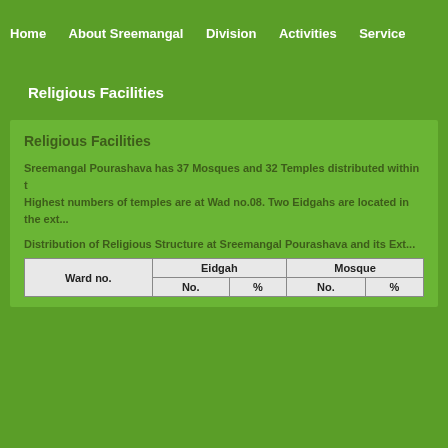Home    About Sreemangal    Division    Activities    Service
Religious Facilities
Religious Facilities
Sreemangal Pourashava has 37 Mosques and 32 Temples distributed within the wards. Highest numbers of temples are at Wad no.08. Two Eidgahs are located in the ext...
Distribution of Religious Structure at Sreemangal Pourashava and its Ext...
| Ward no. | Eidgah |  | Mosque |  |
| --- | --- | --- | --- | --- |
|  | No. | % | No. | % |